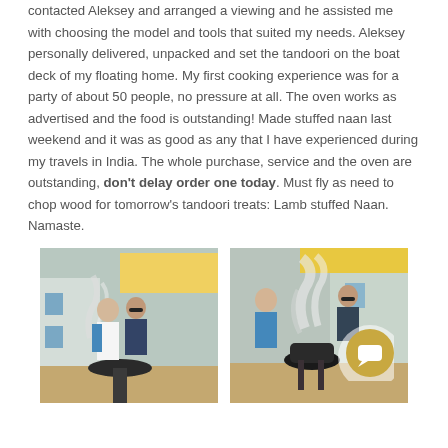contacted Aleksey and arranged a viewing and he assisted me with choosing the model and tools that suited my needs. Aleksey personally delivered, unpacked and set the tandoori on the boat deck of my floating home. My first cooking experience was for a party of about 50 people, no pressure at all. The oven works as advertised and the food is outstanding! Made stuffed naan last weekend and it was as good as any that I have experienced during my travels in India. The whole purchase, service and the oven are outstanding, don't delay order one today. Must fly as need to chop wood for tomorrow's tandoori treats: Lamb stuffed Naan. Namaste.
[Figure (photo): Two people outdoors near a tandoori oven with smoke, yellow umbrella and building in background]
[Figure (photo): Two people outdoors near a smoking tandoori oven, yellow umbrella visible, chat bubble icon overlay]